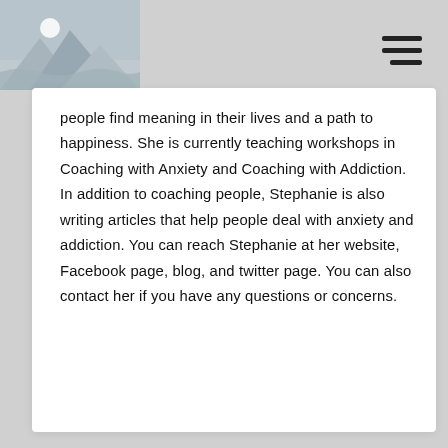[Figure (illustration): Placeholder image with grey mountains/landscape silhouette and white circle (moon/sun), shown in top-left corner of the page header area]
people find meaning in their lives and a path to happiness. She is currently teaching workshops in Coaching with Anxiety and Coaching with Addiction. In addition to coaching people, Stephanie is also writing articles that help people deal with anxiety and addiction. You can reach Stephanie at her website, Facebook page, blog, and twitter page. You can also contact her if you have any questions or concerns.